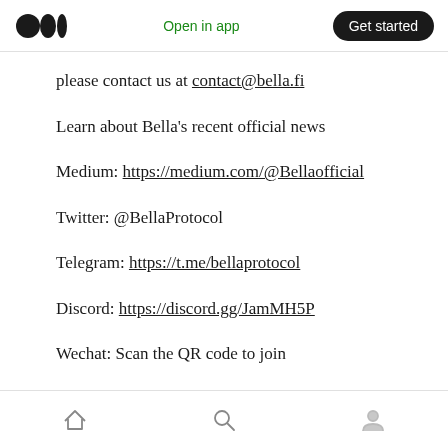Open in app | Get started
please contact us at contact@bella.fi
Learn about Bella's recent official news
Medium: https://medium.com/@Bellaofficial
Twitter: @BellaProtocol
Telegram: https://t.me/bellaprotocol
Discord: https://discord.gg/JamMH5P
Wechat: Scan the QR code to join
Home | Search | Profile